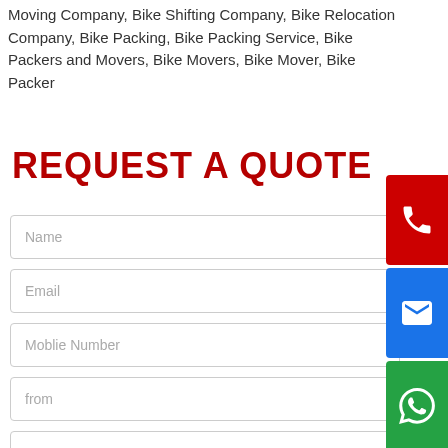Moving Company, Bike Shifting Company, Bike Relocation Company, Bike Packing, Bike Packing Service, Bike Packers and Movers, Bike Movers, Bike Mover, Bike Packer
REQUEST A QUOTE
Name
Email
Moblie Number
from
To